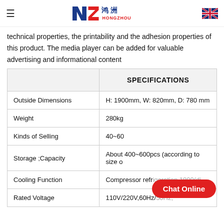NZ Hongzhou logo and navigation header
technical properties, the printability and the adhesion properties of this product. The media player can be added for valuable advertising and informational content
|  | SPECIFICATIONS |
| --- | --- |
| Outside Dimensions | H: 1900mm, W: 820mm, D: 780 mm |
| Weight | 280kg |
| Kinds of Selling | 40~60 |
| Storage ;Capacity | About 400~600pcs (according to size o |
| Cooling Function | Compressor refrigeration 1800(di |
| Rated Voltage | 110V/220V,60Hz/50Hz, |